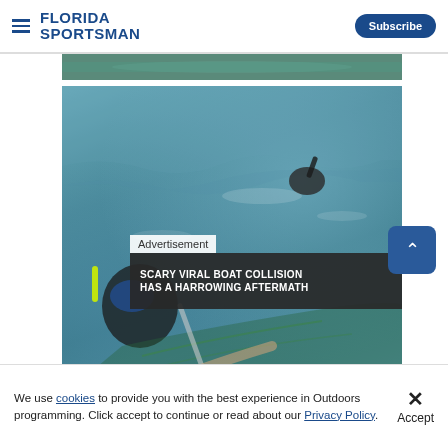FLORIDA SPORTSMAN | Subscribe
[Figure (photo): Partially visible photo of water surface at top of content area]
[Figure (photo): Main photo of a snorkeler/diver in open water holding a green net, with another diver visible in the background on the water surface. An advertisement overlay reads 'Advertisement' and 'SCARY VIRAL BOAT COLLISION HAS A HARROWING AFTERMATH' with a close button (X).]
We use cookies to provide you with the best experience in Outdoors programming. Click accept to continue or read about our Privacy Policy.